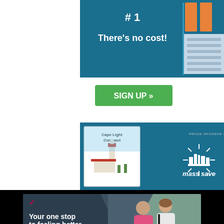[Figure (infographic): Top advertisement: dark teal background with '#1' and 'There's no cost!' text, a green 'SIGN UP >>' button, Cape Light Compact logo, and Mass Save sponsor logo with sunburst icon]
Close
[Figure (infographic): ConvenientMD Urgent Care banner ad on dark slate background with pink checkmark logo, 'Your one stop to feeling better' headline, 'Open every day, 8am-8pm' subtext, photo of doctor examining child, ConvenientMD Urgent Care branding on right]